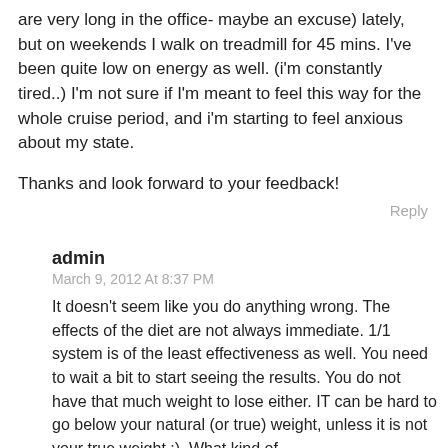are very long in the office- maybe an excuse) lately, but on weekends I walk on treadmill for 45 mins. I've been quite low on energy as well. (i'm constantly tired..) I'm not sure if I'm meant to feel this way for the whole cruise period, and i'm starting to feel anxious about my state.
Thanks and look forward to your feedback!
Reply
admin
March 9, 2012 At 8:37 PM
It doesn't seem like you do anything wrong. The effects of the diet are not always immediate. 1/1 system is of the least effectiveness as well. You need to wait a bit to start seeing the results. You do not have that much weight to lose either. IT can be hard to go below your natural (or true) weight, unless it is not your true weight :). What kind of